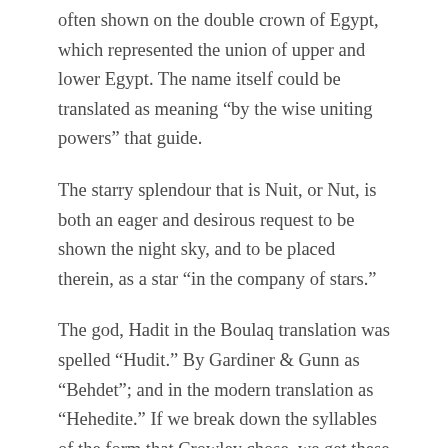often shown on the double crown of Egypt, which represented the union of upper and lower Egypt. The name itself could be translated as meaning “by the wise uniting powers” that guide.
The starry splendour that is Nuit, or Nut, is both an eager and desirous request to be shown the night sky, and to be placed therein, as a star “in the company of stars.”
The god, Hadit in the Boulaq translation was spelled “Hudit.” By Gardiner & Gunn as “Behdet”; and in the modern translation as “Hehedite.” If we break down the syllables of the form that Crowley chose, we get these various meanings: Ha is a desert god. Had or hd means “to punish” or “defeat,” or to be “victorious.” The it means “father.” If we add an “n” to “it” it means the “sun” or the “sun’s disk.” So, I think we begin to see what Crowley was trying to say. He was invoking the light of night and the